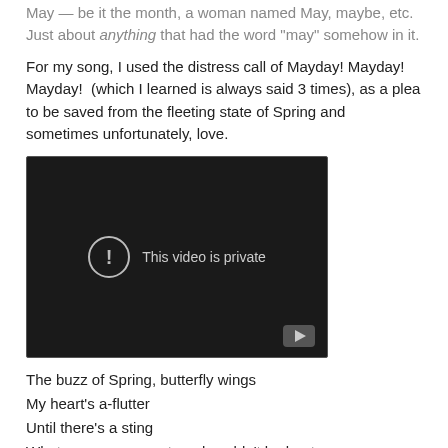May — be it the month, a woman named May, maybe, etc. Just about anything that had the word "may" somehow in it.
For my song, I used the distress call of Mayday! Mayday! Mayday!  (which I learned is always said 3 times), as a plea to be saved from the fleeting state of Spring and sometimes unfortunately, love.
[Figure (screenshot): Embedded video player showing 'This video is private' message with exclamation icon and play button]
The buzz of Spring, butterfly wings
My heart's a-flutter
Until there's a sting
What once was sweet, and couldn't be beat
Melts away